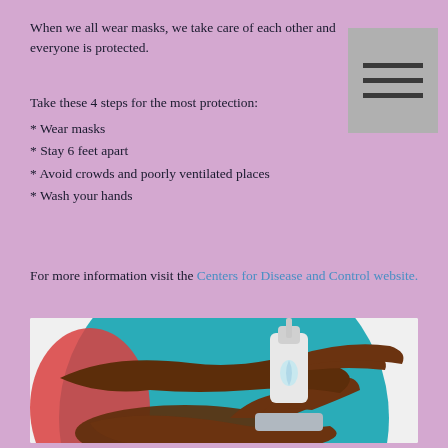When we all wear masks, we take care of each other and everyone is protected.
Take these 4 steps for the most protection:
* Wear masks
* Stay 6 feet apart
* Avoid crowds and poorly ventilated places
* Wash your hands
For more information visit the Centers for Disease and Control website.
[Figure (illustration): Illustration of hands using a hand sanitizer pump dispenser on a teal circular background with red accents, depicting hand washing/sanitizing.]